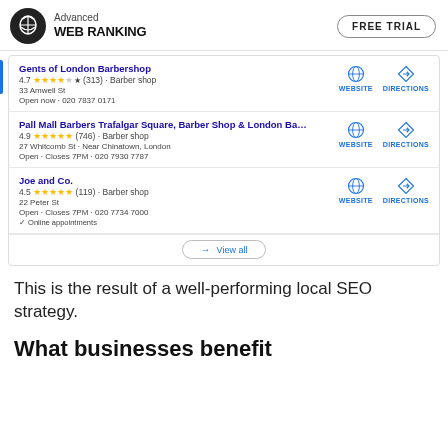Advanced WEB RANKING | FREE TRIAL
[Figure (screenshot): Google Maps local pack showing three barber shop listings: Gents of London Barbershop (4.7 stars, 313 reviews, 33 Amwell St, Open now 020 7837 0171), Pall Mall Barbers Trafalgar Square (4.9 stars, 746 reviews, 27 Whitcomb St Near Chinatown London, Open Closes 7PM 020 7930 7787), Joe and Co. (4.5 stars, 119 reviews, 22 Peter St, Open Closes 7PM 020 7734 7000, Online appointments). Each listing has WEBSITE and DIRECTIONS buttons. A 'View all' button at the bottom.]
This is the result of a well-performing local SEO strategy.
What businesses benefit from local SEO